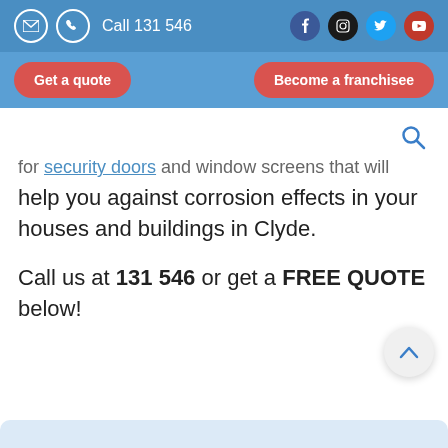Call 131 546
Get a quote | Become a franchisee
...for security doors and window screens that will help you against corrosion effects in your houses and buildings in Clyde.
Call us at 131 546 or get a FREE QUOTE below!